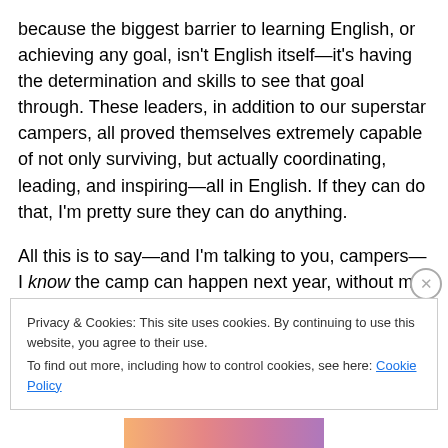because the biggest barrier to learning English, or achieving any goal, isn't English itself—it's having the determination and skills to see that goal through. These leaders, in addition to our superstar campers, all proved themselves extremely capable of not only surviving, but actually coordinating, leading, and inspiring—all in English. If they can do that, I'm pretty sure they can do anything.
All this is to say—and I'm talking to you, campers—I know the camp can happen next year, without me and without
Privacy & Cookies: This site uses cookies. By continuing to use this website, you agree to their use.
To find out more, including how to control cookies, see here: Cookie Policy